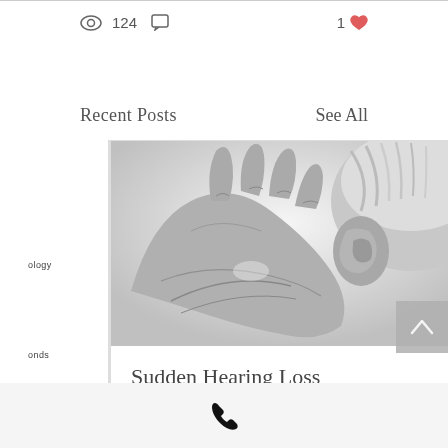👁 124  💬   1 ♥
Recent Posts
See All
ology
onds
[Figure (photo): Black and white photo of elderly person's hand cupped near their ear, suggesting hearing loss]
Sudden Hearing Loss
👁 24  💬 1   1 ♥
[Figure (photo): Partial view of another blog post card showing a skin-toned image]
📞